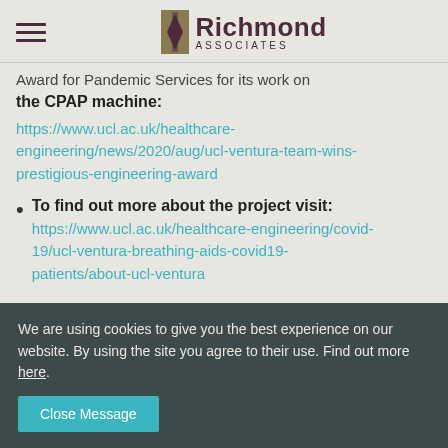Richmond Associates
Award for Pandemic Services for its work on the CPAP machine:
https://www.ucl.ac.uk/healthcare-engineering/news/2020/aug/ucl-ventura-team-wins-prestigious-engineering-award
To find out more about the project visit: https://www.ucl.ac.uk/healthcare-engineering/covid-19/ucl-ventura-breathing-aids-covid19-patients/about-ucl-ventura
We are using cookies to give you the best experience on our website. By using the site you agree to their use. Find out more here.